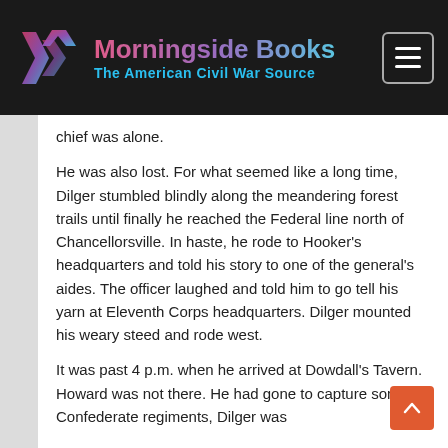[Figure (logo): Morningside Books logo with geometric arrow/chevron icon in pink/purple gradient and text 'Morningside Books – The American Civil War Source' on dark background, with hamburger menu button top right]
chief was alone.
He was also lost. For what seemed like a long time, Dilger stumbled blindly along the meandering forest trails until finally he reached the Federal line north of Chancellorsville. In haste, he rode to Hooker's headquarters and told his story to one of the general's aides. The officer laughed and told him to go tell his yarn at Eleventh Corps headquarters. Dilger mounted his weary steed and rode west.
It was past 4 p.m. when he arrived at Dowdall's Tavern. Howard was not there. He had gone to capture some Confederate regiments, Dilger was